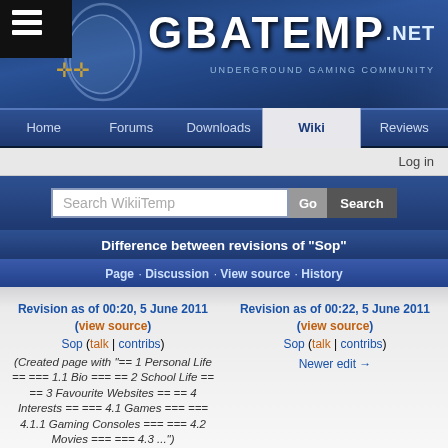[Figure (screenshot): GBAtemp.net website header banner with logo, ghost mascot, and gamepad icon]
Home · Forums · Downloads · Wiki · Reviews
Log in
Search WikiiTemp
Difference between revisions of "Sop"
Page · Discussion · View source · History
Revision as of 00:20, 5 June 2011 (view source)
Sop (talk | contribs)
(Created page with "== 1 Personal Life == === 1.1 Bio === == 2 School Life == == 3 Favourite Websites == == 4 Interests == === 4.1 Games === === 4.1.1 Gaming Consoles === === 4.2 Movies === === 4.3 ...")
Revision as of 00:22, 5 June 2011 (view source)
Sop (talk | contribs)
Newer edit →